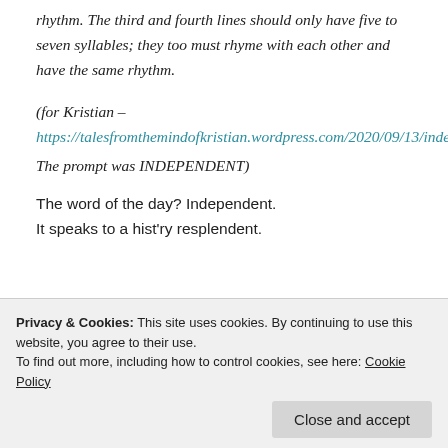rhythm. The third and fourth lines should only have five to seven syllables; they too must rhyme with each other and have the same rhythm.
(for Kristian – https://talesfromthemindofkristian.wordpress.com/2020/09/13/independent/ The prompt was INDEPENDENT)
The word of the day? Independent.
It speaks to a hist'ry resplendent.
Privacy & Cookies: This site uses cookies. By continuing to use this website, you agree to their use. To find out more, including how to control cookies, see here: Cookie Policy
Close and accept
https://esthernewtonblog.wordpress.com/2020/09/14/l